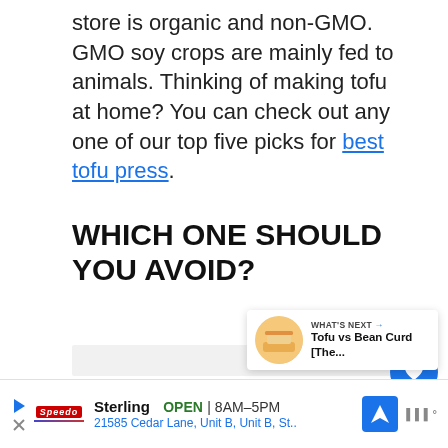store is organic and non-GMO. GMO soy crops are mainly fed to animals. Thinking of making tofu at home? You can check out any one of our top five picks for best tofu press.
WHICH ONE SHOULD YOU AVOID?
[Figure (other): Floating social action buttons: heart/save button (blue circle) and share button (white circle with shadow). What's Next card showing 'Tofu vs Bean Curd [The...' with food thumbnail image.]
Sterling  OPEN  8AM–5PM  21585 Cedar Lane, Unit B, Unit B, St..